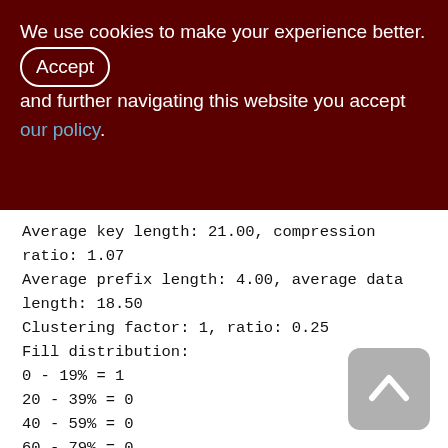We use cookies to make your experience better. By accepting and further navigating this website you accept our policy.
Average key length: 21.00, compression ratio: 1.07
Average prefix length: 4.00, average data length: 18.50
Clustering factor: 1, ratio: 0.25
Fill distribution:
0 - 19% = 1
20 - 39% = 0
40 - 59% = 0
60 - 79% = 0
80 - 99% = 0